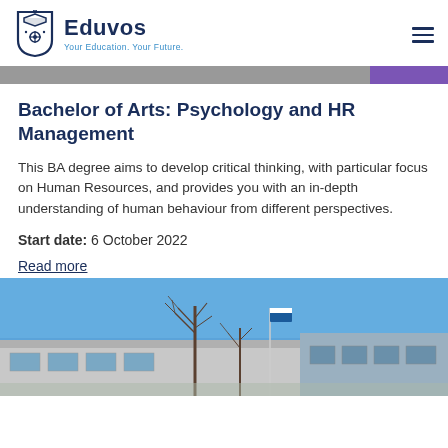Eduvos — Your Education. Your Future.
[Figure (photo): Partial banner image with purple accent strip on the right]
Bachelor of Arts: Psychology and HR Management
This BA degree aims to develop critical thinking, with particular focus on Human Resources, and provides you with an in-depth understanding of human behaviour from different perspectives.
Start date: 6 October 2022
Read more
[Figure (photo): Exterior photo of a campus building with bare trees against a blue sky and a blue banner/flag visible]